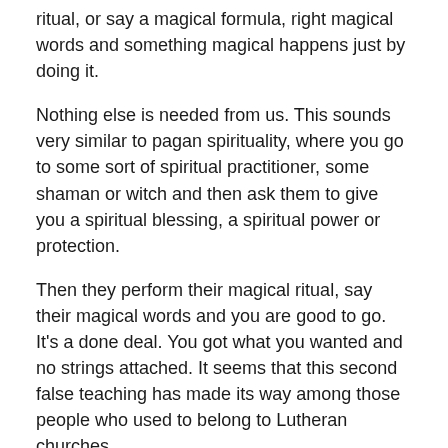ritual, or say a magical formula, right magical words and something magical happens just by doing it.
Nothing else is needed from us. This sounds very similar to pagan spirituality, where you go to some sort of spiritual practitioner, some shaman or witch and then ask them to give you a spiritual blessing, a spiritual power or protection.
Then they perform their magical ritual, say their magical words and you are good to go. It's a done deal. You got what you wanted and no strings attached. It seems that this second false teaching has made its way among those people who used to belong to Lutheran churches.
Perhaps they still remember that Baptism was something important, but having wandered away from the body of